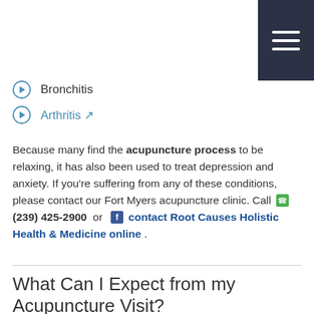[Figure (other): Hamburger menu icon (three horizontal white lines on dark navy background), top right corner]
Bronchitis
Arthritis
Because many find the acupuncture process to be relaxing, it has also been used to treat depression and anxiety. If you're suffering from any of these conditions, please contact our Fort Myers acupuncture clinic. Call  (239) 425-2900  or  contact Root Causes Holistic Health & Medicine online .
What Can I Expect from my Acupuncture Visit?